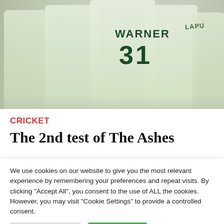[Figure (photo): Cricket players in white uniforms celebrating, with WARNER 31 visible on one player's back. Red/purple crowd in background.]
CRICKET
The 2nd test of The Ashes
We use cookies on our website to give you the most relevant experience by remembering your preferences and repeat visits. By clicking "Accept All", you consent to the use of ALL the cookies. However, you may visit "Cookie Settings" to provide a controlled consent.